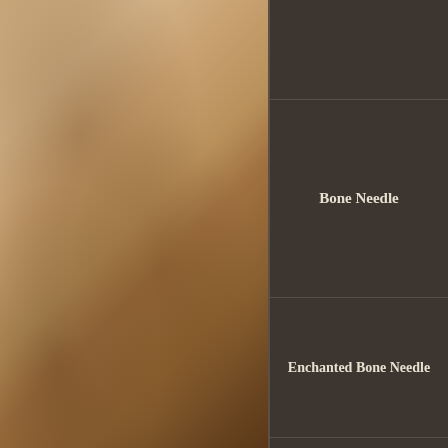[Figure (screenshot): Game UI screenshot showing a parchment texture on the left half and a dark brown menu panel on the right half with a vertical list of items: (partial top row), Bone Needle, Enchanted Bone Needle, Abrasive, Superior Abrasive, and a partial bottom row.]
Bone Needle
Enchanted Bone Needle
Abrasive
Superior Abrasive